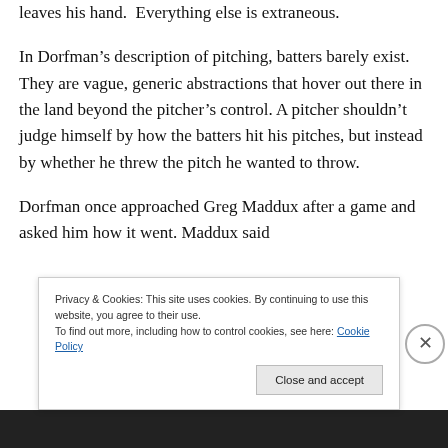leaves his hand.  Everything else is extraneous.
In Dorfman's description of pitching, batters barely exist. They are vague, generic abstractions that hover out there in the land beyond the pitcher's control. A pitcher shouldn't judge himself by how the batters hit his pitches, but instead by whether he threw the pitch he wanted to throw.
Dorfman once approached Greg Maddux after a game and asked him how it went. Maddux said
Privacy & Cookies: This site uses cookies. By continuing to use this website, you agree to their use.
To find out more, including how to control cookies, see here: Cookie Policy